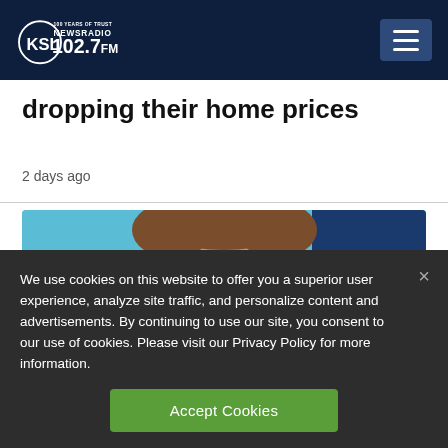KSL NewsRadio 102.7FM
dropping their home prices
2 days ago
[Figure (photo): Partial photo of a person's face (forehead and eyebrows visible) against a light blue background]
We use cookies on this website to offer you a superior user experience, analyze site traffic, and personalize content and advertisements. By continuing to use our site, you consent to our use of cookies. Please visit our Privacy Policy for more information.
Accept Cookies